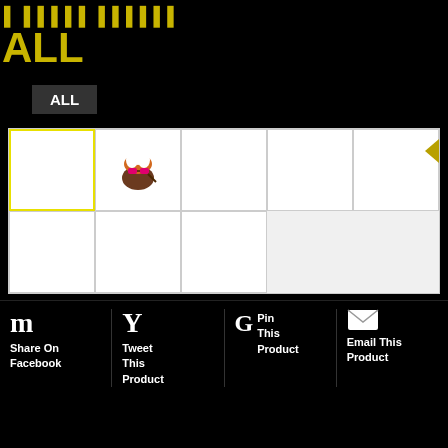ALL
ALL
[Figure (screenshot): A grid of image cells, first row with yellow-highlighted first cell, a cupcake with sunglasses emoji in second cell, remaining cells empty; second row with three empty cells; a yellow arrow tab on the right edge]
m Share On Facebook
Y Tweet This Product
G Pin This Product
Email This Product